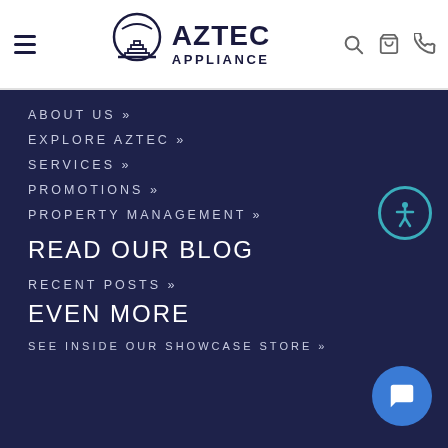Aztec Appliance - Navigation Header
ABOUT US »
EXPLORE AZTEC »
SERVICES »
PROMOTIONS »
PROPERTY MANAGEMENT »
READ OUR BLOG
RECENT POSTS »
EVEN MORE
SEE INSIDE OUR SHOWCASE STORE »